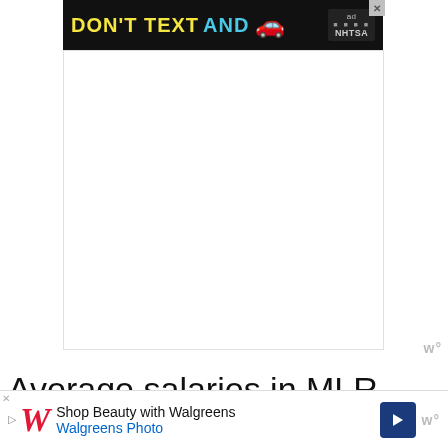[Figure (screenshot): NHTSA 'Don't Text and Drive' advertisement banner with yellow and cyan text on dark background with a red car emoji]
Average salaries in MLR
Star players in Major League Rugby earn up to a capped maximum of $45K per season.
Senior players with international caps earn from $20K to $30K
[Figure (screenshot): Walgreens Photo advertisement banner at bottom of page]